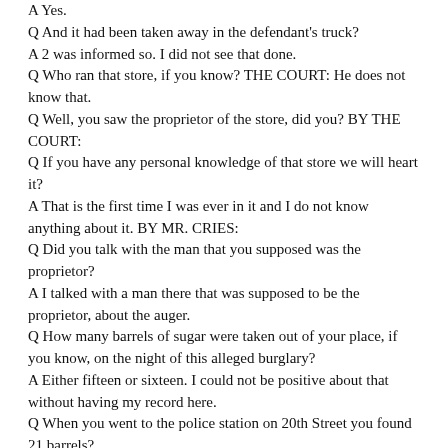A Yes.
Q And it had been taken away in the defendant's truck?
A 2 was informed so. I did not see that done.
Q Who ran that store, if you know? THE COURT: He does not know that.
Q Well, you saw the proprietor of the store, did you? BY THE COURT:
Q If you have any personal knowledge of that store we will heart it?
A That is the first time I was ever in it and I do not know anything about it. BY MR. CRIES:
Q Did you talk with the man that you supposed was the proprietor?
A I talked with a man there that was supposed to be the proprietor, about the auger.
Q How many barrels of sugar were taken out of your place, if you know, on the night of this alleged burglary?
A Either fifteen or sixteen. I could not be positive about that without having my record here.
Q When you went to the police station on 20th Street you found 21 barrels?
A Yes.
Q Do you know where those 31 barrels were taken from whom they ware taken to the police station?
A I was told.
THE COURT: That is not evidence. You have no personal